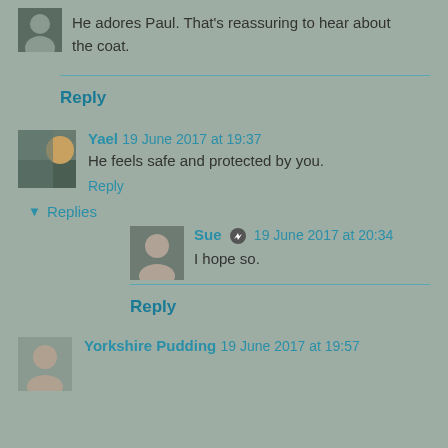He adores Paul. That's reassuring to hear about the coat.
Reply
Yael 19 June 2017 at 19:37
He feels safe and protected by you.
Reply
Replies
Sue 19 June 2017 at 20:34
I hope so.
Reply
Yorkshire Pudding 19 June 2017 at 19:57